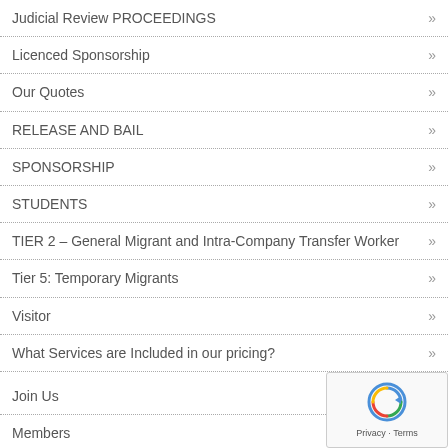Judicial Review PROCEEDINGS »
Licenced Sponsorship »
Our Quotes »
RELEASE AND BAIL »
SPONSORSHIP »
STUDENTS »
TIER 2 – General Migrant and Intra-Company Transfer Worker »
Tier 5: Temporary Migrants »
Visitor »
What Services are Included in our pricing? »
Join Us »
Members »
MT UK FAQs Regarding Coronavirus »
NEWS »
Services »
Asylum, Immigration & Human Rights »